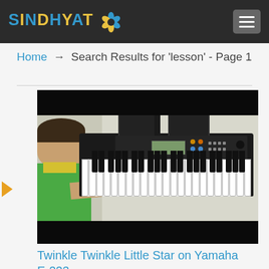SINDHYAT (logo with flower icon) — hamburger menu button
Home → Search Results for 'lesson' - Page 1
[Figure (photo): A child playing on a Yamaha E-223 electronic keyboard. The child is seen from behind/side, wearing a green shirt, playing the piano keys. The keyboard has a music stand with two panels. Black background bars at top and bottom of the image frame.]
Twinkle Twinkle Little Star on Yamaha E-223